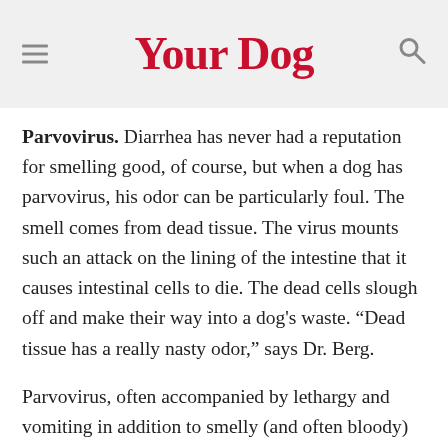Your Dog
Parvovirus. Diarrhea has never had a reputation for smelling good, of course, but when a dog has parvovirus, his odor can be particularly foul. The smell comes from dead tissue. The virus mounts such an attack on the lining of the intestine that it causes intestinal cells to die. The dead cells slough off and make their way into a dog's waste. “Dead tissue has a really nasty odor,” says Dr. Berg.
Parvovirus, often accompanied by lethargy and vomiting in addition to smelly (and often bloody) diarrhea, is an extremely serious, life-threatening disease if left untreated. Just about all pet dogs are inoculated against the condition, but if for some reason yours has missed his booster shot — or your puppy has missed one of his initial vaccinations — and he exhibits the characteristic symptoms of the illness, don’t delay in